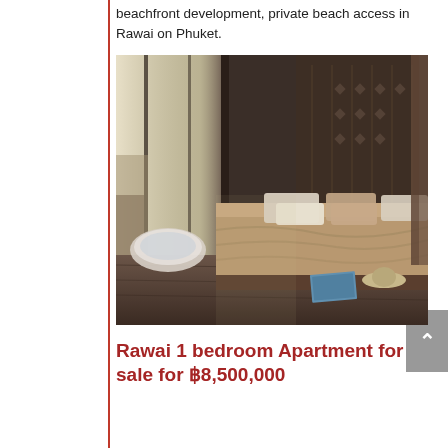beachfront development, private beach access in Rawai on Phuket.
[Figure (photo): Interior photo of a luxury bedroom with floor-to-ceiling windows, a large bed with pillows, a freestanding bathtub, and dark wood paneling.]
Rawai 1 bedroom Apartment for sale for ฿8,500,000